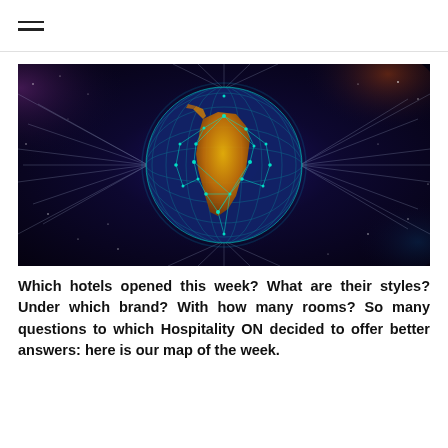[Figure (photo): A digital illustration of a glowing network globe showing Earth's continents made of golden light and connected by a web of blue-teal nodes and lines, set against a dark space background with light streaks radiating outward.]
Which hotels opened this week? What are their styles? Under which brand? With how many rooms? So many questions to which Hospitality ON decided to offer better answers: here is our map of the week.